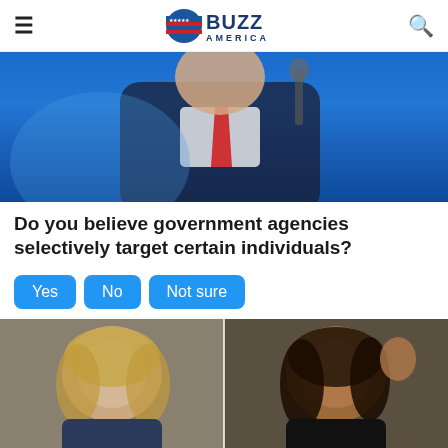BUZZ AMERICA
[Figure (photo): Man in dark suit with red tie speaking at a microphone, blue background]
Do you believe government agencies selectively target certain individuals?
Yes
No
Not sure
[Figure (photo): Two women side by side: left woman with blonde hair smiling, right woman with dark hair waving and smiling]